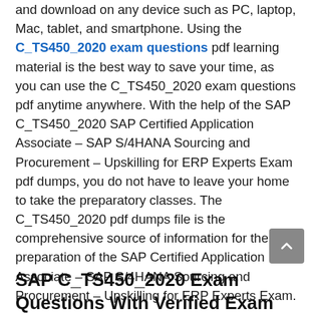and download on any device such as PC, laptop, Mac, tablet, and smartphone. Using the C_TS450_2020 exam questions pdf learning material is the best way to save your time, as you can use the C_TS450_2020 exam questions pdf anytime anywhere. With the help of the SAP C_TS450_2020 SAP Certified Application Associate – SAP S/4HANA Sourcing and Procurement – Upskilling for ERP Experts Exam pdf dumps, you do not have to leave your home to take the preparatory classes. The C_TS450_2020 pdf dumps file is the comprehensive source of information for the preparation of the SAP Certified Application Associate – SAP S/4HANA Sourcing and Procurement – Upskilling for ERP Experts Exam.
SAP C_TS450_2020 Exam Questions With Verified Exam